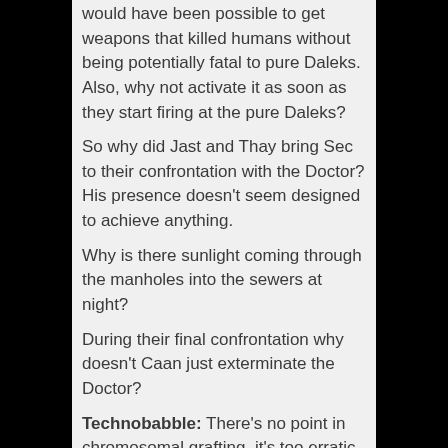would have been possible to get weapons that killed humans without being potentially fatal to pure Daleks. Also, why not activate it as soon as they start firing at the pure Daleks?
So why did Jast and Thay bring Sec to their confrontation with the Doctor? His presence doesn't seem designed to achieve anything.
Why is there sunlight coming through the manholes into the sewers at night?
During their final confrontation why doesn't Caan just exterminate the Doctor?
Technobabble: There's no point in chromosomal grafting, it's too erratic. You need to split the genome and force the new Dalek human sequence right into the cortex.
Dialogue Triumphs: 'You told us to imagine and we imagined your irrelevance.'
Continuity: Emergency Temporal Shifts eat up the power cells, and the Daleks were stranded after making one. [Presumably Dalek Caan has had enough time to recover the power he lost.] Sec says that no Dalek has felt pain of the flesh for thousands of years - suggesting that Genesis of the Daleks was within that timescale. Dalek Sec has an American accent. Before the "final experiment", the Cult of Skaro tried breeding Dalek embryos, but the resultant embryos had